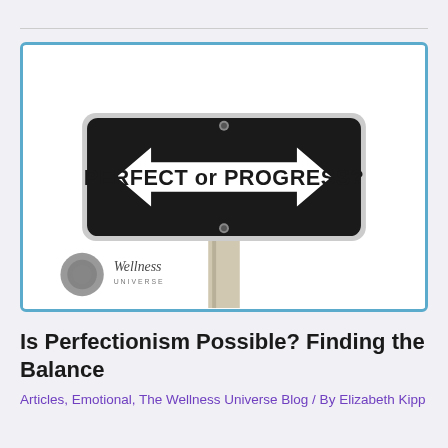[Figure (illustration): A road sign on a pole with a black rectangular background. A large double-headed white arrow points left and right with the text 'PERFECT or PROGRESS?' in bold black letters. The sign has a white border and two bolts at top and bottom center. A Wellness Universe logo watermark appears in the bottom-left corner of the image.]
Is Perfectionism Possible? Finding the Balance
Articles, Emotional, The Wellness Universe Blog / By Elizabeth Kipp